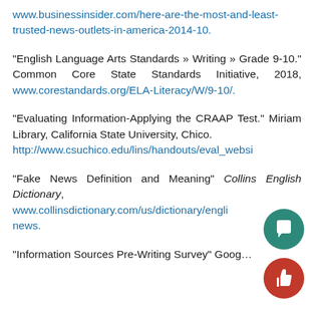www.businessinsider.com/here-are-the-most-and-least-trusted-news-outlets-in-america-2014-10.
“English Language Arts Standards » Writing » Grade 9-10.” Common Core State Standards Initiative, 2018, www.corestandards.org/ELA-Literacy/W/9-10/.
“Evaluating Information-Applying the CRAAP Test.” Miriam Library, California State University, Chico. http://www.csuchico.edu/lins/handouts/eval_websi…
“Fake News Definition and Meaning” Collins English Dictionary, www.collinsdictionary.com/us/dictionary/engli… news.
“Information Sources Pre-Writing Survey” Goog…